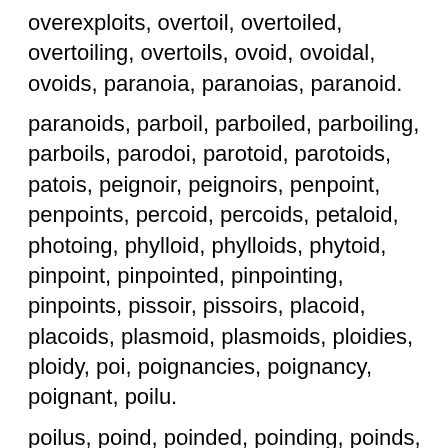overexploits, overtoil, overtoiled, overtoiling, overtoils, ovoid, ovoidal, ovoids, paranoia, paranoias, paranoid.
paranoids, parboil, parboiled, parboiling, parboils, parodoi, parotoid, parotoids, patois, peignoir, peignoirs, penpoint, penpoints, percoid, percoids, petaloid, photoing, phylloid, phylloids, phytoid, pinpoint, pinpointed, pinpointing, pinpoints, pissoir, pissoirs, placoid, placoids, plasmoid, plasmoids, ploidies, ploidy, poi, poignancies, poignancy, poignant, poilu.
poilus, poind, poinded, poinding, poinds, poinsettia, point, pointe, pointed, pointer, pointers, pointes, pointier, pointiest, pointing, pointless, pointman, pointmen, points, pointy, pois, poise, poised, poiser.
poisers, poises, poising, poison, poisoned, poisoner, poisoners, poisoning, poisonous, poisons, poitrel,